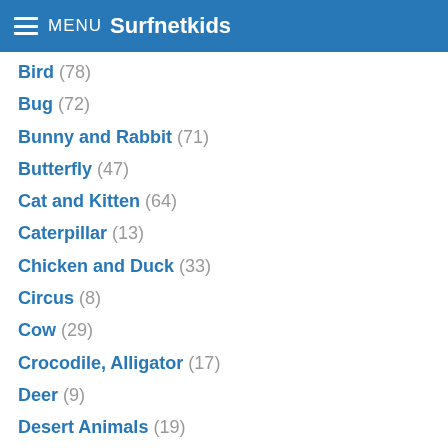MENU Surfnetkids
Bird (78)
Bug (72)
Bunny and Rabbit (71)
Butterfly (47)
Cat and Kitten (64)
Caterpillar (13)
Chicken and Duck (33)
Circus (8)
Cow (29)
Crocodile, Alligator (17)
Deer (9)
Desert Animals (19)
Dinosaur (44)
Dog (70)
Dog and Puppy (56)
Dog Breed (55)